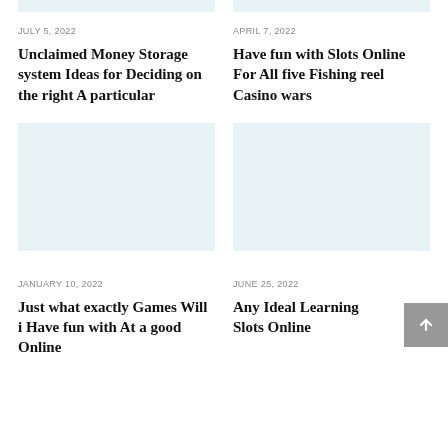[Figure (photo): Light blue placeholder image top-left]
[Figure (photo): Light blue placeholder image top-right]
JULY 5, 2022
Unclaimed Money Storage system Ideas for Deciding on the right A particular
APRIL 7, 2022
Have fun with Slots Online For All five Fishing reel Casino wars
[Figure (photo): Light blue placeholder image middle-left]
[Figure (photo): Light blue placeholder image middle-right]
JANUARY 10, 2022
Just what exactly Games Will i Have fun with At a good Online
JUNE 25, 2022
Any Ideal Learning Slots Online